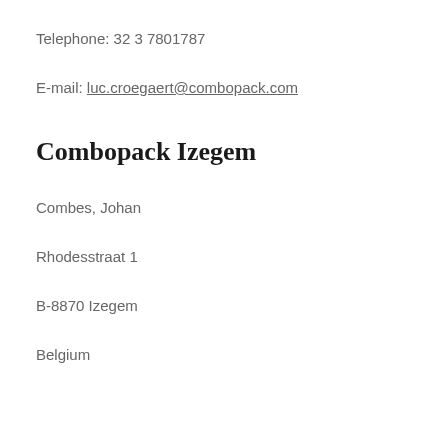Telephone: 32 3 7801787
E-mail: luc.croegaert@combopack.com
Combopack Izegem
Combes, Johan
Rhodesstraat 1
B-8870 Izegem
Belgium